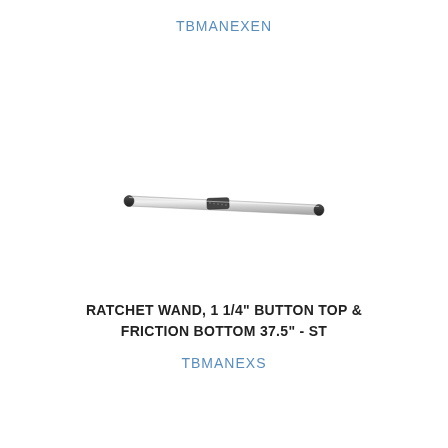TBMANEXEN
[Figure (photo): A ratchet wand product photo showing a slender cylindrical rod (silver/gray aluminum tube) with a black button mechanism near the center and black end caps, viewed at a slight angle. The wand is approximately 37.5 inches long.]
RATCHET WAND, 1 1/4" BUTTON TOP & FRICTION BOTTOM 37.5" - ST
TBMANEXS